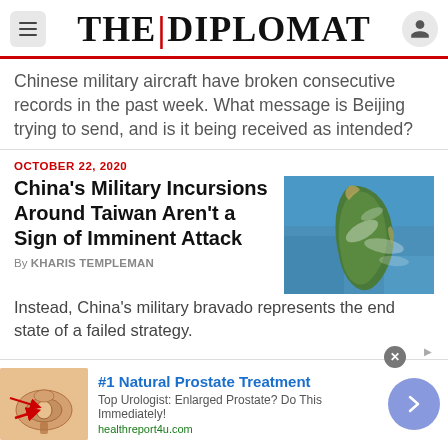THE|DIPLOMAT
Chinese military aircraft have broken consecutive records in the past week. What message is Beijing trying to send, and is it being received as intended?
OCTOBER 22, 2020
China's Military Incursions Around Taiwan Aren't a Sign of Imminent Attack
[Figure (photo): Satellite image of Taiwan island from above, showing the island with green vegetation and surrounding blue ocean water]
By KHARIS TEMPLEMAN
Instead, China's military bravado represents the end state of a failed strategy.
[Figure (infographic): Advertisement banner: #1 Natural Prostate Treatment. Top Urologist: Enlarged Prostate? Do This Immediately! healthreport4u.com. Shows anatomical illustration of prostate on left and navigation arrow on right.]